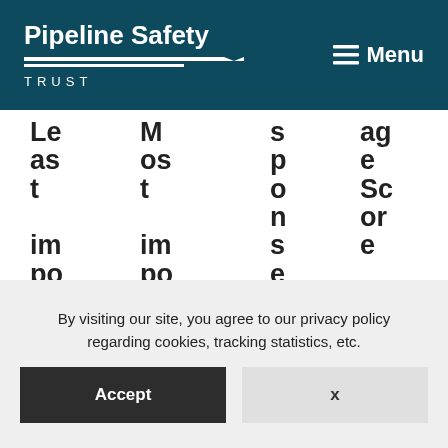Pipeline Safety Trust  Menu
| Least | Most | Sponsors | Age Score |
| --- | --- | --- | --- |
| Le as t im po rt | M os t im po rt | s p o n s o r s | ag e Sc or e |
By visiting our site, you agree to our privacy policy regarding cookies, tracking statistics, etc.